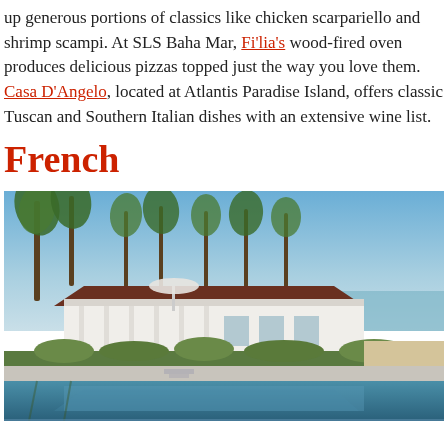up generous portions of classics like chicken scarpariello and shrimp scampi. At SLS Baha Mar, Fi'lia's wood-fired oven produces delicious pizzas topped just the way you love them. Casa D'Angelo, located at Atlantis Paradise Island, offers classic Tuscan and Southern Italian dishes with an extensive wine list.
French
[Figure (photo): A luxury resort with a white colonial-style building surrounded by palm trees, with an infinity pool in the foreground reflecting the scene, and the ocean visible in the background under a clear blue sky.]